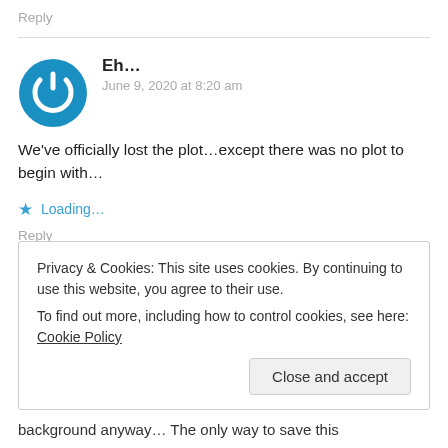Reply
Eh...
June 9, 2020 at 8:20 am
We've officially lost the plot…except there was no plot to begin with…
Loading...
Reply
Privacy & Cookies: This site uses cookies. By continuing to use this website, you agree to their use.
To find out more, including how to control cookies, see here: Cookie Policy
Close and accept
background anyway… The only way to save this